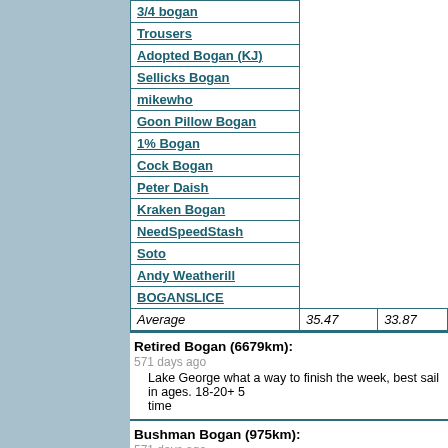| Name |  |  |
| --- | --- | --- |
| 3/4 bogan |  |  |
| Trousers |  |  |
| Adopted Bogan (KJ) |  |  |
| Sellicks Bogan |  |  |
| mikewho |  |  |
| Goon Pillow Bogan |  |  |
| 1% Bogan |  |  |
| Cock Bogan |  |  |
| Peter Daish |  |  |
| Kraken Bogan |  |  |
| NeedSpeedStash |  |  |
| Soto |  |  |
| Andy Weatherill |  |  |
| BOGANSLICE |  |  |
| Average | 35.47 | 33.87 |
Retired Bogan (6679km):
571 days ago
Lake George what a way to finish the week, best sail in ages. 18-20+ 5 time
Bushman Bogan (975km):
571 days ago
Afterwork Wednesday Workout off Cockys. Working o
[Figure (photo): Circular object with colorful reflections - green, blue, and gold on dark background]